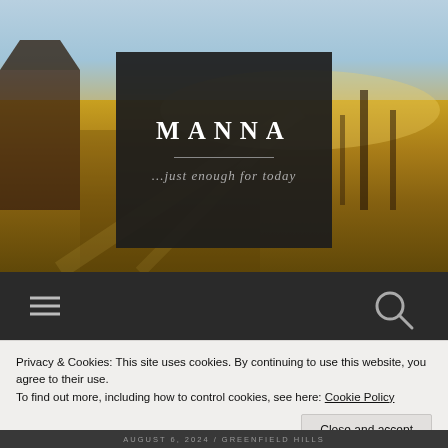[Figure (photo): Pastoral farm scene with golden morning light shining across green/golden fields. A dark wooden barn structure is visible on the left side. Bare trees appear on the right side. Sky is light blue and hazy at the top.]
MANNA
...just enough for today
[Figure (infographic): Dark navigation bar with hamburger menu icon on the left and a search (magnifying glass) icon on the right, on a dark background.]
Privacy & Cookies: This site uses cookies. By continuing to use this website, you agree to their use.
To find out more, including how to control cookies, see here: Cookie Policy
Close and accept
AUGUST 6, 2024 / GREENFIELD HILLS